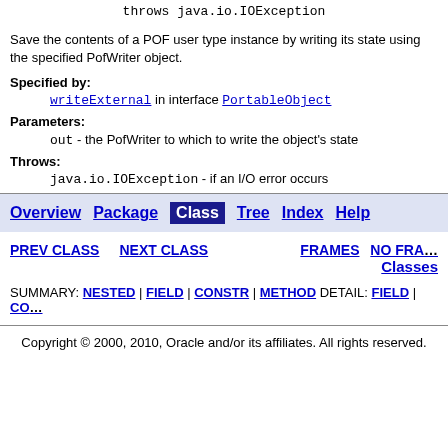throws java.io.IOException
Save the contents of a POF user type instance by writing its state using the specified PofWriter object.
Specified by:
writeExternal in interface PortableObject
Parameters:
out - the PofWriter to which to write the object's state
Throws:
java.io.IOException - if an I/O error occurs
Overview Package Class Tree Index Help
PREV CLASS NEXT CLASS FRAMES NO FRAMES All Classes SUMMARY: NESTED | FIELD | CONSTR | METHOD DETAIL: FIELD | CONSTR
Copyright © 2000, 2010, Oracle and/or its affiliates. All rights reserved.